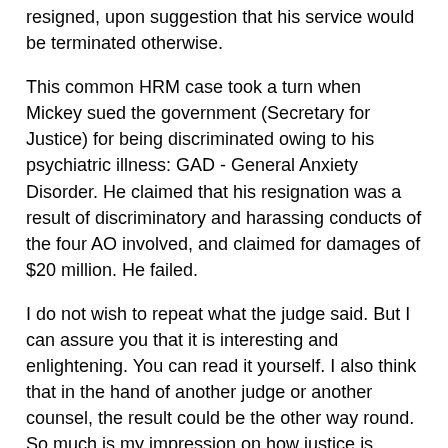resigned, upon suggestion that his service would be terminated otherwise.
This common HRM case took a turn when Mickey sued the government (Secretary for Justice) for being discriminated owing to his psychiatric illness: GAD - General Anxiety Disorder. He claimed that his resignation was a result of discriminatory and harassing conducts of the four AO involved, and claimed for damages of $20 million. He failed.
I do not wish to repeat what the judge said. But I can assure you that it is interesting and enlightening. You can read it yourself. I also think that in the hand of another judge or another counsel, the result could be the other way round. So much is my impression on how justice is practiced. There are however some points which are amusing that I highlight below.
Several psychiatrists were engaged by Mickey and SJ as expert witnesses on Mickey's health conditions. As usual, experts explained the conditions with different theories and interpretations. The judge rightly pointed out that none of